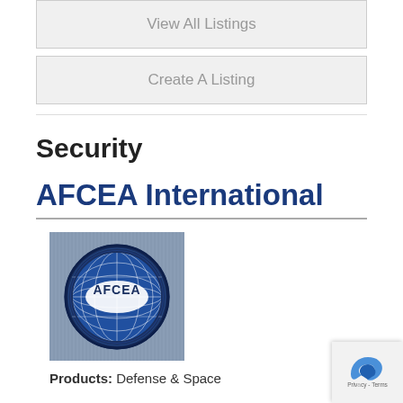View All Listings
Create A Listing
Security
AFCEA International
[Figure (logo): AFCEA logo: blue circle globe with grid lines and AFCEA text in the center, on a blue-gray striped background]
Products: Defense & Space